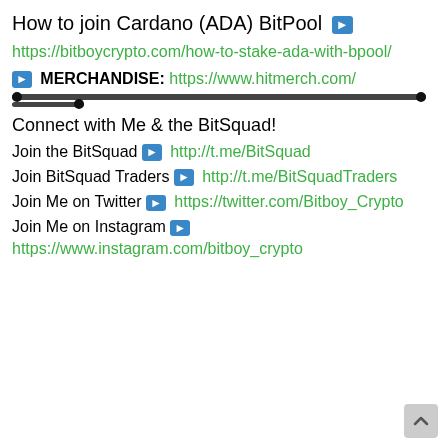How to join Cardano (ADA) BitPool ➡
https://bitboycrypto.com/how-to-stake-ada-with-bpool/
➡ MERCHANDISE: https://www.hitmerch.com/
Connect with Me & the BitSquad!
Join the BitSquad ➡ http://t.me/BitSquad
Join BitSquad Traders ➡ http://t.me/BitSquadTraders
Join Me on Twitter ➡ https://twitter.com/Bitboy_Crypto
Join Me on Instagram ➡
https://www.instagram.com/bitboy_crypto